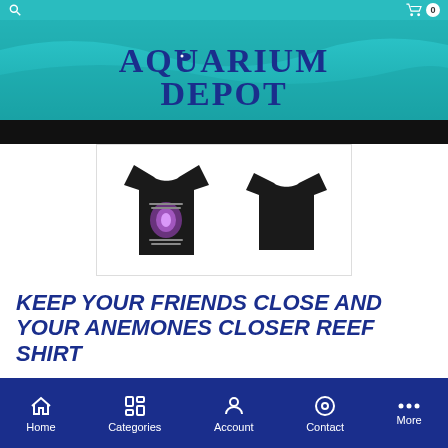Aquarium Depot - navigation bar with search and cart (0 items)
[Figure (logo): Aquarium Depot logo with teal wave background and stylized text]
[Figure (photo): Two black t-shirts - front showing purple anemone graphic design, back plain]
KEEP YOUR FRIENDS CLOSE AND YOUR ANEMONES CLOSER REEF SHIRT
$29.99
Home  Categories  Account  Contact  More